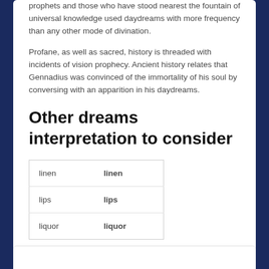prophets and those who have stood nearest the fountain of universal knowledge used daydreams with more frequency than any other mode of divination.
Profane, as well as sacred, history is threaded with incidents of vision prophecy. Ancient history relates that Gennadius was convinced of the immortality of his soul by conversing with an apparition in his daydreams.
Other dreams interpretation to consider
| linen | linen |
| lips | lips |
| liquor | liquor |